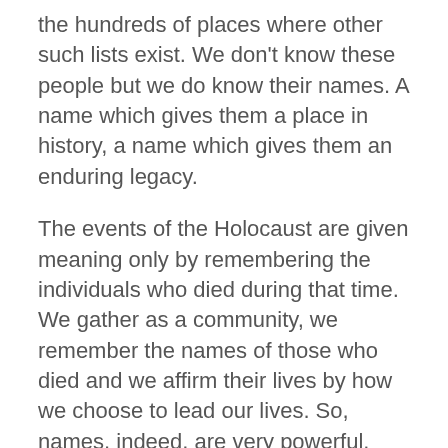the hundreds of places where other such lists exist. We don't know these people but we do know their names. A name which gives them a place in history, a name which gives them an enduring legacy.
The events of the Holocaust are given meaning only by remembering the individuals who died during that time. We gather as a community, we remember the names of those who died and we affirm their lives by how we choose to lead our lives. So, names, indeed, are very powerful.
A midrash tells us about the significance of our names: “All people